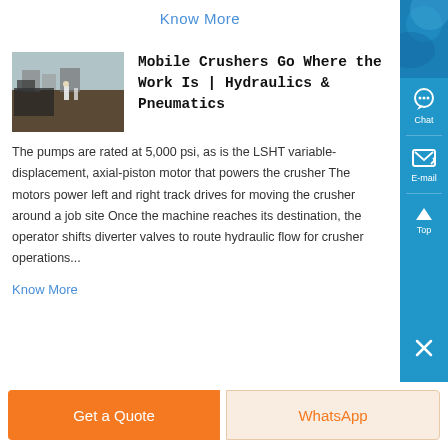Know More
Mobile Crushers Go Where the Work Is | Hydraulics & Pneumatics
[Figure (photo): Outdoor photo of mobile crusher equipment on a job site, showing machinery and workers in the background]
The pumps are rated at 5,000 psi, as is the LSHT variable-displacement, axial-piston motor that powers the crusher The motors power left and right track drives for moving the crusher around a job site Once the machine reaches its destination, the operator shifts diverter valves to route hydraulic flow for crusher operations...
Know More
Get a Quote
WhatsApp